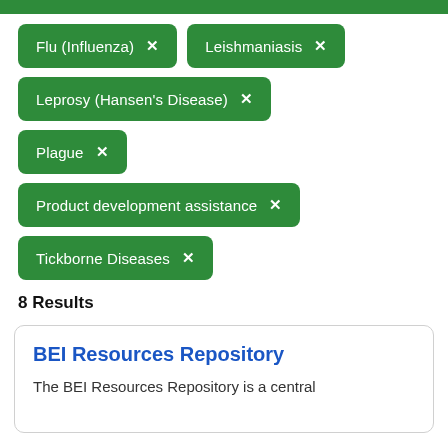Flu (Influenza) ×
Leishmaniasis ×
Leprosy (Hansen's Disease) ×
Plague ×
Product development assistance ×
Tickborne Diseases ×
8 Results
BEI Resources Repository
The BEI Resources Repository is a central